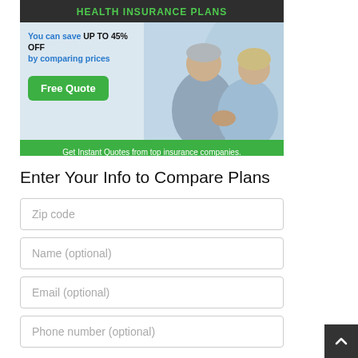[Figure (illustration): Health insurance advertisement banner showing elderly couple with text 'HEALTH INSURANCE PLANS', 'You can save UP TO 45% OFF by comparing prices', a green 'Free Quote' button, and a bottom bar saying 'Get Instant Quotes from top insurance companies.']
Enter Your Info to Compare Plans
Zip code
Name (optional)
Email (optional)
Phone number (optional)